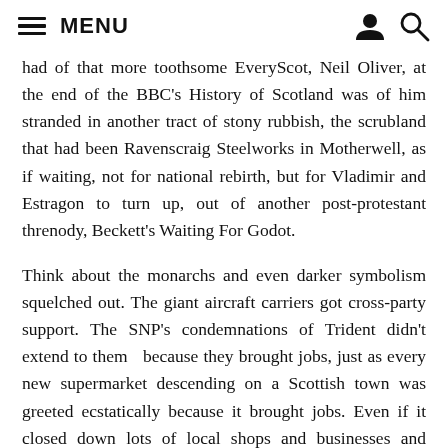MENU
had of that more toothsome EveryScot, Neil Oliver, at the end of the BBC's History of Scotland was of him stranded in another tract of stony rubbish, the scrubland that had been Ravenscraig Steelworks in Motherwell, as if waiting, not for national rebirth, but for Vladimir and Estragon to turn up, out of another post-protestant threnody, Beckett's Waiting For Godot.
Think about the monarchs and even darker symbolism squelched out. The giant aircraft carriers got cross-party support. The SNP's condemnations of Trident didn't extend to them  because they brought jobs, just as every new supermarket descending on a Scottish town was greeted ecstatically because it brought jobs. Even if it closed down lots of local shops and businesses and replaced Adam Smith's merchants and their self-regulating civil society, with microserfs doing the bidding of supervisers and marketing men, and business mortally dependent on petrol.